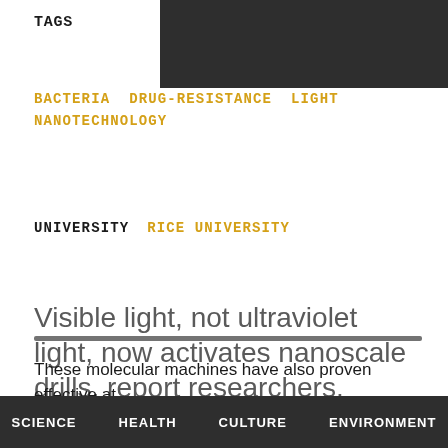TAGS
BACTERIA DRUG-RESISTANCE LIGHT NANOTECHNOLOGY
UNIVERSITY   RICE UNIVERSITY
Visible light, not ultraviolet light, now activates nanoscale drills, report researchers.
These molecular machines have also proven effective at
SCIENCE   HEALTH   CULTURE   ENVIRONMENT